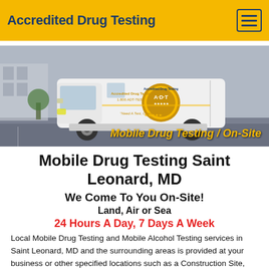Accredited Drug Testing
[Figure (photo): A white van with Accredited Drug Testing logo and gold badge graphic parked in a parking lot. Overlay text reads 'Mobile Drug Testing / On-Site' in gold italic text.]
Mobile Drug Testing Saint Leonard, MD
We Come To You On-Site!
Land, Air or Sea
24 Hours A Day, 7 Days A Week
Local Mobile Drug Testing and Mobile Alcohol Testing services in Saint Leonard, MD and the surrounding areas is provided at your business or other specified locations such as a Construction Site, Warehouse, Port, Office Building,